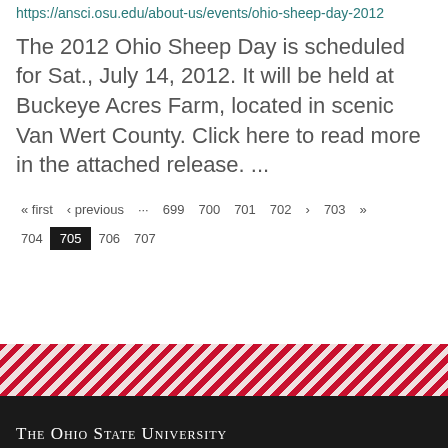https://ansci.osu.edu/about-us/events/ohio-sheep-day-2012
The 2012 Ohio Sheep Day is scheduled for Sat., July 14, 2012. It will be held at Buckeye Acres Farm, located in scenic Van Wert County. Click here to read more in the attached release. ...
« first ‹ previous … 699 700 701 702 › 703 » 704 705 706 707
The Ohio State University